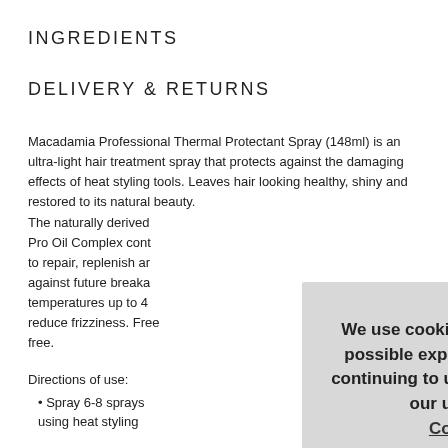INGREDIENTS
DELIVERY & RETURNS
Macadamia Professional Thermal Protectant Spray (148ml) is an ultra-light hair treatment spray that protects against the damaging effects of heat styling tools. Leaves hair looking healthy, shiny and restored to its natural beauty.
The naturally derived Pro Oil Complex cont to repair, replenish and against future breaka temperatures up to 4 reduce frizziness. Free free.
Directions of use:
• Spray 6-8 sprays using heat styling
We use cookies to give you the best possible experience on our site. By continuing to use the site you agree to our use of cookies. Cookies Page.
I opt-in to a better browsing experience
ACCEPT COOKIES